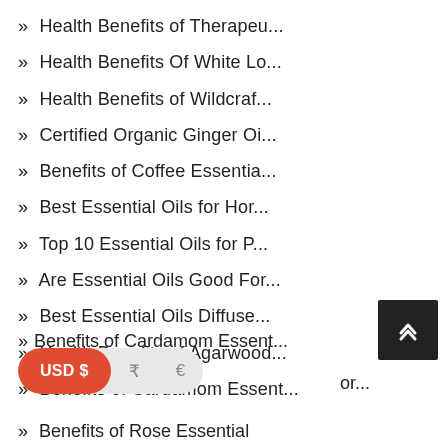» Health Benefits of Therapeu...
» Health Benefits Of White Lo...
» Health Benefits of Wildcraf...
» Certified Organic Ginger Oi...
» Benefits of Coffee Essentia...
» Best Essential Oils for Hor...
» Top 10 Essential Oils for P...
» Are Essential Oils Good For...
» Best Essential Oils Diffuse...
» Health Benefits of Agarwood...
» Benefits of Cardamom Essent...
» ...or...
» Benefits of Rose Essential